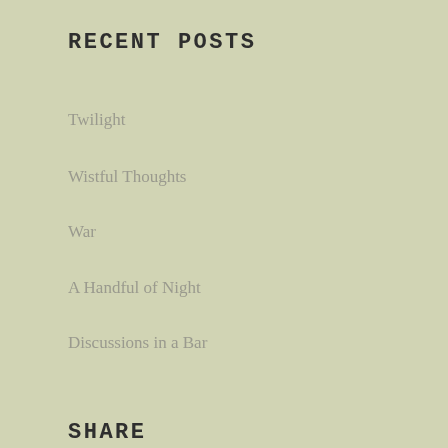RECENT POSTS
Twilight
Wistful Thoughts
War
A Handful of Night
Discussions in a Bar
SHARE
[Figure (infographic): Social share buttons: Facebook, Twitter, Email, Pinterest, Reddit, and a plus/more button, all with golden/yellow rounded square background]
CONTACT INFO
+977-9866893483